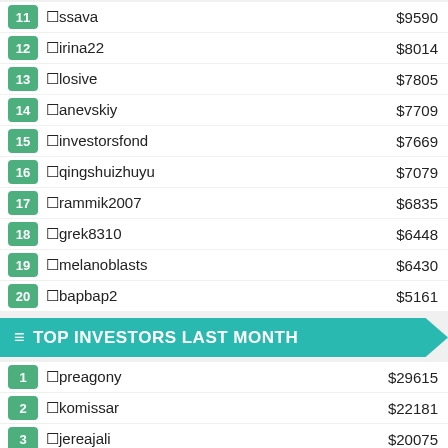11 🏦ssava $9590
12 🏦irina22 $8014
13 🏦losive $7805
14 🏦anevskiy $7709
15 🏦investorsfond $7669
16 🏦qingshuizhuyu $7079
17 🏦rammik2007 $6835
18 🏦grek8310 $6448
19 🏦melanoblasts $6430
20 🏦bapbap2 $5161
≡ TOP INVESTORS LAST MONTH
1 🏦preagony $29615
2 🏦komissar $22181
3 🏦jereajali $20075
4 🏦herbert $15919
5 🏦rucker $15673